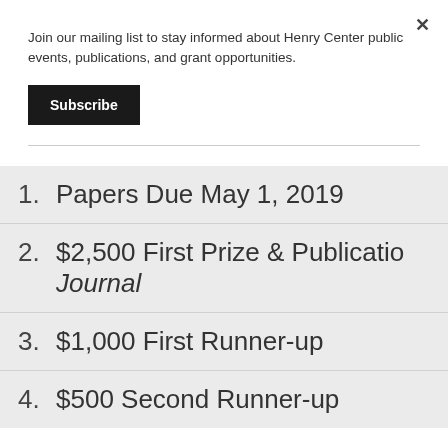Join our mailing list to stay informed about Henry Center public events, publications, and grant opportunities.
Subscribe
1. Papers Due May 1, 2019
2. $2,500 First Prize & Publication in the Journal
3. $1,000 First Runner-up
4. $500 Second Runner-up